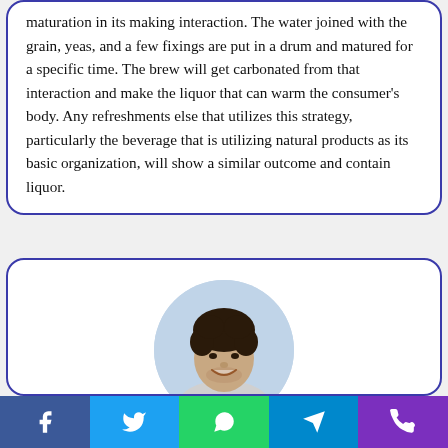maturation in its making interaction. The water joined with the grain, yeas, and a few fixings are put in a drum and matured for a specific time. The brew will get carbonated from that interaction and make the liquor that can warm the consumer's body. Any refreshments else that utilizes this strategy, particularly the beverage that is utilizing natural products as its basic organization, will show a similar outcome and contain liquor.
[Figure (photo): Circular portrait photo of a smiling man with curly dark hair and light stubble, wearing a light grey shirt, photographed outdoors.]
Gabriel
Social share bar with Facebook, Twitter, WhatsApp, Telegram, and Phone icons